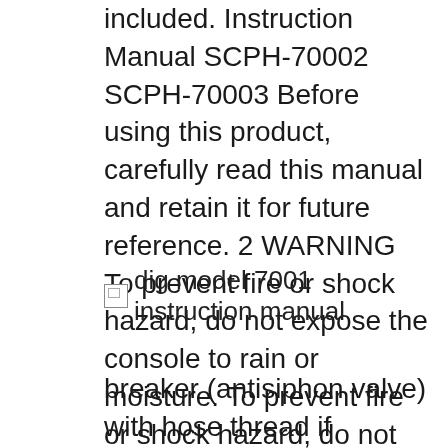included. Instruction Manual SCPH-70002 SCPH-70003 Before using this product, carefully read this manual and retain it for future reference. 2 WARNING To prevent fire or shock hazard, do not expose the console to rain or moisture. To prevent fire or shock hazard, do not place a container filled with liquids on top of the console. To avoid electrical shock, do not open the cabinet. Refer servicing to.
[Figure (other): Broken image placeholder labeled 'dig model 7001 instruction manual']
breaker (antisiphon valve) with hose thread if installed (Figure 5b) DIG Model #10-4. After installation of the